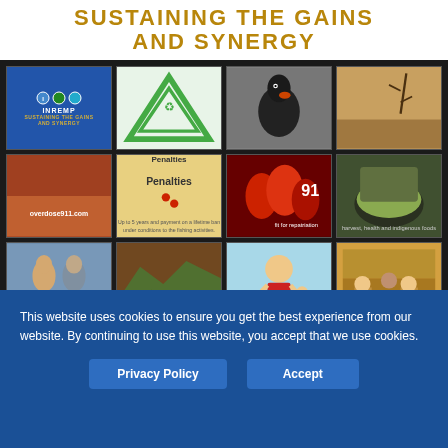SUSTAINING THE GAINS AND SYNERGY
[Figure (screenshot): Grid of 12 YouTube video thumbnails including INREMP logo, triangle recycling symbol, bird, dry landscape, food, penalties slide, parrots, bowl of food, two men on beach, terrain aerial, animated boy, animated classroom scene. YouTube Slider label at bottom right.]
This website uses cookies to ensure you get the best experience from our website. By continuing to use this website, you accept that we use cookies.
Privacy Policy    Accept